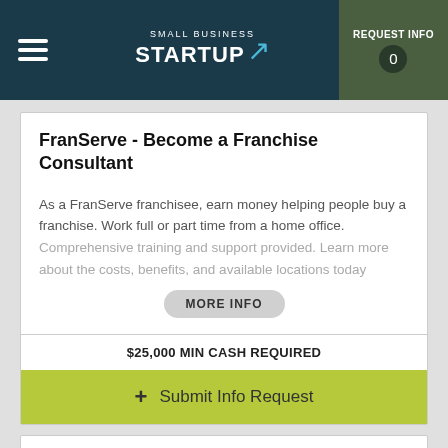Small Business Startup | REQUEST INFO 0
FranServe - Become a Franchise Consultant
As a FranServe franchisee, earn money helping people buy a franchise. Work full or part time from a home office. Comprehensive training and support provided. Learn more about the costs, benefits, and available locations today
MORE INFO
$25,000 MIN CASH REQUIRED
+ Submit Info Request
[Figure (logo): milliCare Floor & Textile Care logo in a bordered box]
milliCare - Floor & Textile Care